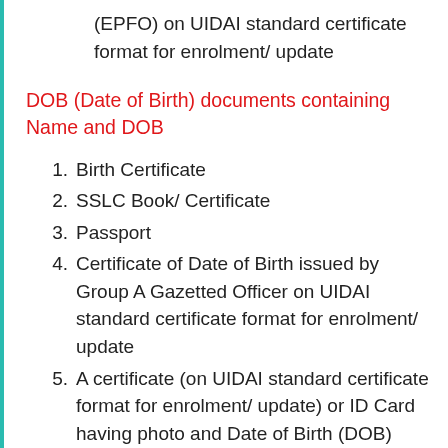(EPFO) on UIDAI standard certificate format for enrolment/ update
DOB (Date of Birth) documents containing Name and DOB
1. Birth Certificate
2. SSLC Book/ Certificate
3. Passport
4. Certificate of Date of Birth issued by Group A Gazetted Officer on UIDAI standard certificate format for enrolment/ update
5. A certificate (on UIDAI standard certificate format for enrolment/ update) or ID Card having photo and Date of Birth (DOB) duly signed and issued by a Government authority